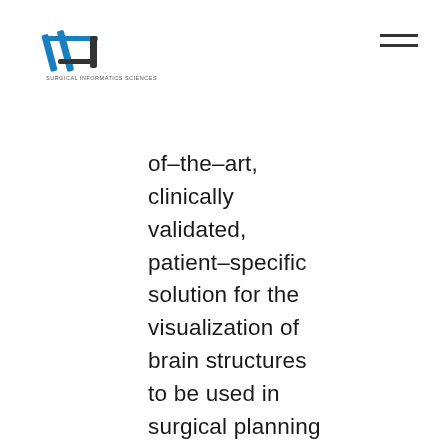SIS - Surgical Informatics Sciences
of-the-art, clinically validated, patient-specific solution for the visualization of brain structures to be used in surgical planning in order to accurately determine the target location for DBS surgery. The system